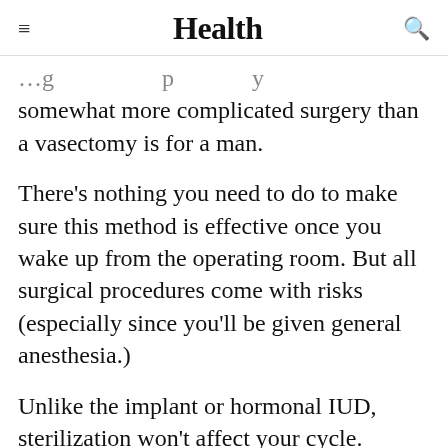Health
somewhat more complicated surgery than a vasectomy is for a man.
There's nothing you need to do to make sure this method is effective once you wake up from the operating room. But all surgical procedures come with risks (especially since you'll be given general anesthesia.)
Unlike the implant or hormonal IUD, sterilization won't affect your cycle.
"If a woman had severe anemia from heavy
[Figure (other): Advertisement banner for HER2+ early breast cancer treatment - 'there are options' with LEARN MORE button and HER2+ empowered branding]